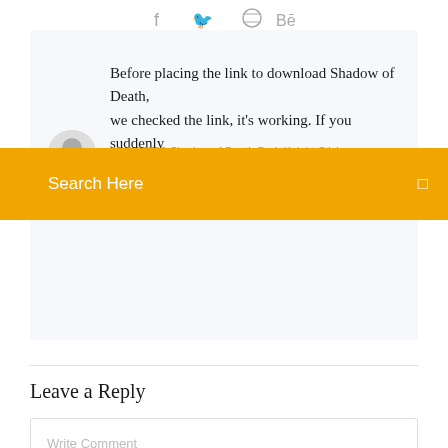[Figure (other): Social media icons: Facebook (f), Twitter (bird), Dribbble (basketball), Behance (Be)]
Before placing the link to download Shadow of Death, we checked the link, it's working. If you suddenly
12 Jul 2019 Shadow of Death Dark Knight Stickman...
Search Here
Leave a Reply
Write Comment